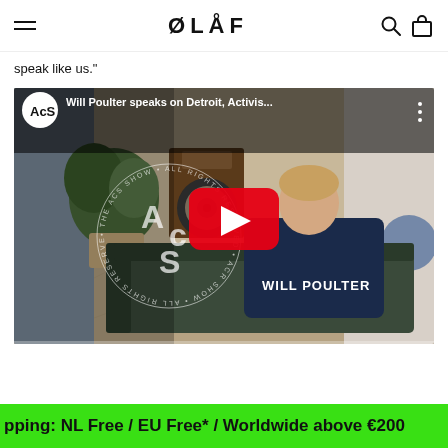ØLÅF
speak like us."
[Figure (screenshot): YouTube video thumbnail showing Will Poulter sitting on a sofa, titled 'Will Poulter speaks on Detroit, Activis...' from The Ack Show channel, with a red YouTube play button in the center and 'WILL POULTER' text overlay on the right.]
pping: NL Free / EU Free* / Worldwide above €200